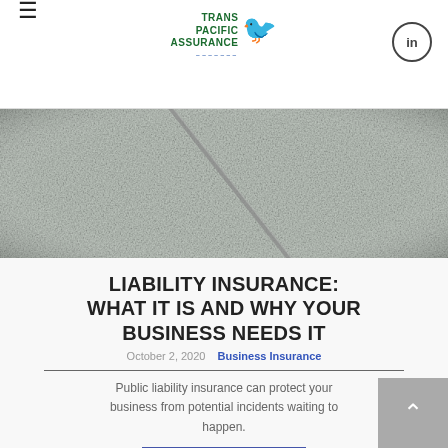Trans Pacific Assurance
[Figure (photo): Close-up photo of grey granite stone surface with diagonal crack/seam]
LIABILITY INSURANCE: WHAT IT IS AND WHY YOUR BUSINESS NEEDS IT
October 2, 2020   Business Insurance
Public liability insurance can protect your business from potential incidents waiting to happen.
READ MORE